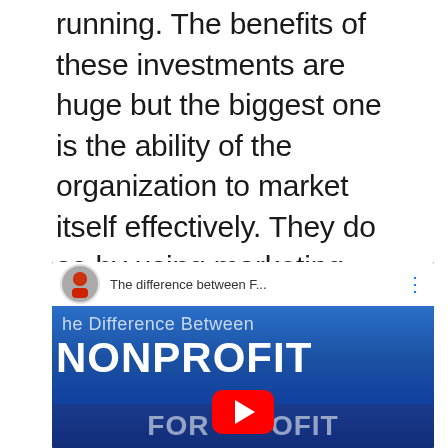running. The benefits of these investments are huge but the biggest one is the ability of the organization to market itself effectively. They do so by using marketing tactics to assist with prosperity, funding and growth.
[Figure (screenshot): YouTube video thumbnail showing 'The difference between F...' with a title 'The Difference Between NONPROFIT FOR [PROFIT]'. Blue background with large white bold text. Red YouTube play button visible at bottom center. Speaker avatar circle in top left.]